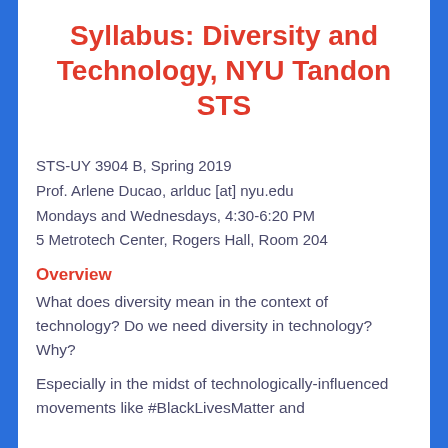Syllabus: Diversity and Technology, NYU Tandon STS
STS-UY 3904 B, Spring 2019
Prof. Arlene Ducao, arlduc [at] nyu.edu
Mondays and Wednesdays, 4:30-6:20 PM
5 Metrotech Center, Rogers Hall, Room 204
Overview
What does diversity mean in the context of technology? Do we need diversity in technology? Why?
Especially in the midst of technologically-influenced movements like #BlackLivesMatter and